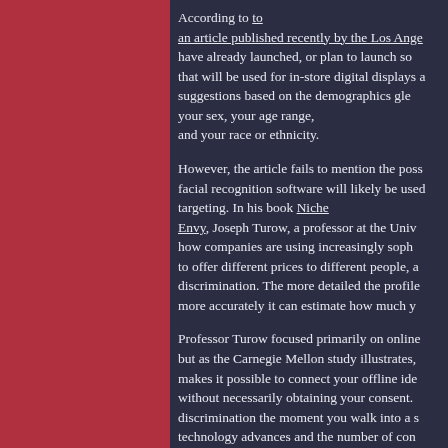According to an article published recently by the Los Angeles Times, several retailers have already launched, or plan to launch soon, a new digital technology that will be used for in-store digital displays and kiosks to make product suggestions based on the demographics gleaned from your face — including your sex, your age range, and your race or ethnicity.
However, the article fails to mention the possible use this technology — facial recognition software will likely be used for price discrimination targeting. In his book Niche Envy, Joseph Turow, a professor at the University of Pennsylvania, describes how companies are using increasingly sophisticated profiling techniques to offer different prices to different people, a practice known as price discrimination. The more detailed the profile a company has on you, the more accurately it can estimate how much you're willing to pay.
Professor Turow focused primarily on online price discrimination, but as the Carnegie Mellon study illustrates, facial recognition technology makes it possible to connect your offline identity to your online profile without necessarily obtaining your consent. This could enable price discrimination the moment you walk into a store. Furthermore, as this technology advances and the number of consumers with profiles continues to increase, it's not far-fetched to imagine a scenario in which a retail kiosk mentioned above identifies you based on your face, and then you then receive not only product recommendations, but prices for products based on who it thinks you are? The implications of widespread facial recognition technology are disturbing,
What You Can Do.